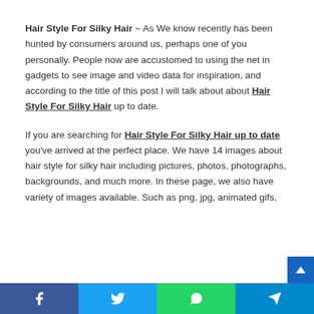Hair Style For Silky Hair ~ As We know recently has been hunted by consumers around us, perhaps one of you personally. People now are accustomed to using the net in gadgets to see image and video data for inspiration, and according to the title of this post I will talk about about Hair Style For Silky Hair up to date.

If you are searching for Hair Style For Silky Hair up to date you've arrived at the perfect place. We have 14 images about hair style for silky hair including pictures, photos, photographs, backgrounds, and much more. In these page, we also have variety of images available. Such as png, jpg, animated gifs,
Facebook | Twitter | WhatsApp | Telegram